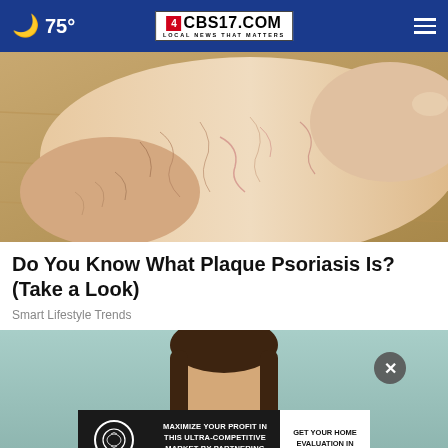75° CBS17.COM LOCAL NEWS THAT MATTERS
[Figure (photo): Close-up photo of a human foot/heel showing dry, cracked, scaly skin consistent with plaque psoriasis, resting on a wooden surface]
Do You Know What Plaque Psoriasis Is? (Take a Look)
Smart Lifestyle Trends
[Figure (photo): Photo of a person with brown hair against a light teal/mint background, partially visible, with a close button overlay and an advertisement banner at the bottom reading: MAXIMIZE YOUR PROFIT IN THIS ULTRA-COMPETITIVE MARKET BY PARTNERING WITH US! | GET YOUR HOME EVALUATION IN 35 SECONDS | COLEY GROUP]
MAXIMIZE YOUR PROFIT IN THIS ULTRA-COMPETITIVE MARKET BY PARTNERING WITH US!
GET YOUR HOME EVALUATION IN 35 SECONDS